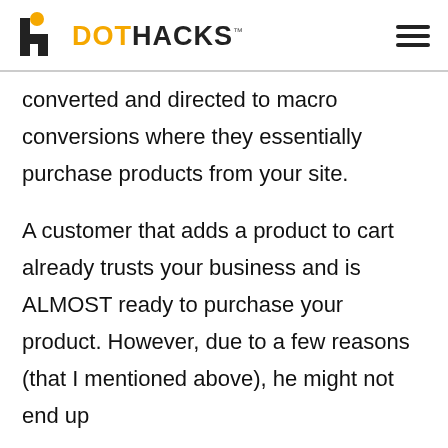DOTHACKS
converted and directed to macro conversions where they essentially purchase products from your site.
A customer that adds a product to cart already trusts your business and is ALMOST ready to purchase your product. However, due to a few reasons (that I mentioned above), he might not end up